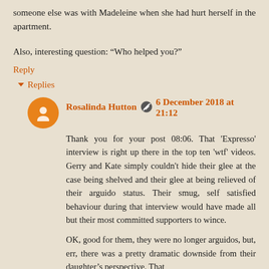someone else was with Madeleine when she had hurt herself in the apartment.
Also, interesting question: “Who helped you?”
Reply
Replies
Rosalinda Hutton 6 December 2018 at 21:12
Thank you for your post 08:06. That 'Expresso' interview is right up there in the top ten 'wtf' videos. Gerry and Kate simply couldn't hide their glee at the case being shelved and their glee at being relieved of their arguido status. Their smug, self satisfied behaviour during that interview would have made all but their most committed supporters to wince.
OK, good for them, they were no longer arguidos, but, err, there was a pretty dramatic downside from their daughter’s perspective. That